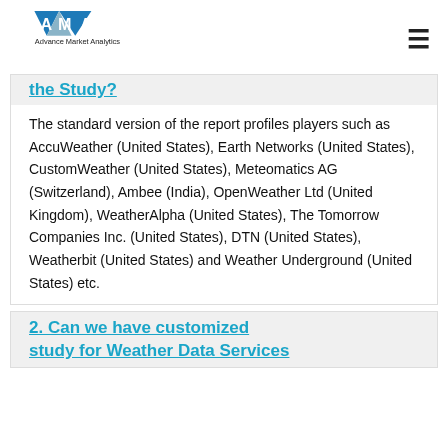[Figure (logo): Advance Market Analytics logo with blue triangle/diamond shapes and 'AMA' text]
the Study?
The standard version of the report profiles players such as AccuWeather (United States), Earth Networks (United States), CustomWeather (United States), Meteomatics AG (Switzerland), Ambee (India), OpenWeather Ltd (United Kingdom), WeatherAlpha (United States), The Tomorrow Companies Inc. (United States), DTN (United States), Weatherbit (United States) and Weather Underground (United States) etc.
2. Can we have customized study for Weather Data Services